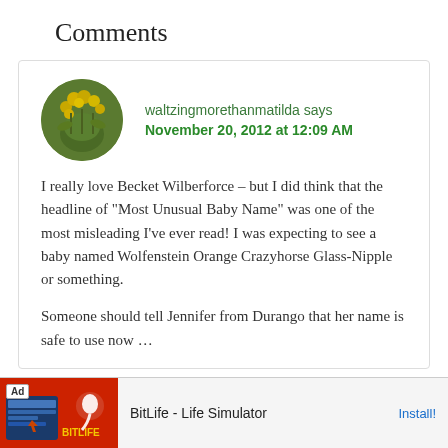Comments
waltzingmorethanmatilda says
November 20, 2012 at 12:09 AM
I really love Becket Wilberforce – but I did think that the headline of “Most Unusual Baby Name” was one of the most misleading I’ve ever read! I was expecting to see a baby named Wolfenstein Orange Crazyhorse Glass-Nipple or something.

Someone should tell Jennifer from Durango that her name is safe to use now …
[Figure (screenshot): Advertisement banner for BitLife - Life Simulator app with red background and game screenshot]
BitLife - Life Simulator
Install!